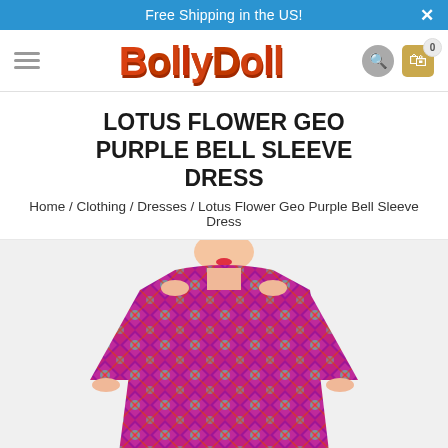Free Shipping in the US!
[Figure (logo): BollyDoll logo in orange/red bubble font]
LOTUS FLOWER GEO PURPLE BELL SLEEVE DRESS
Home / Clothing / Dresses / Lotus Flower Geo Purple Bell Sleeve Dress
[Figure (photo): Model wearing a colorful pink/purple geometric patterned bell sleeve dress with lotus flower design, shown from neck to mid-thigh]